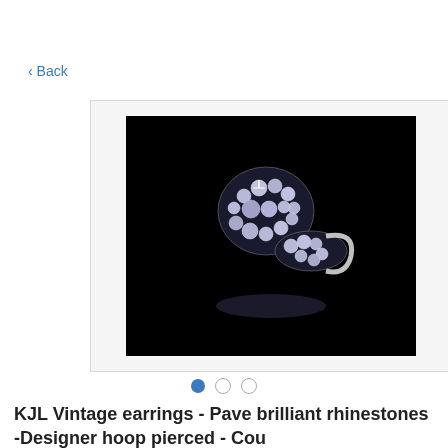< Back
[Figure (photo): A vintage rhinestone earring with pave set brilliant stones in a swirl/hoop design on a black background]
KJL Vintage earrings - Pave brilliant rhinestones -Designer hoop pierced - Cou
$55.00